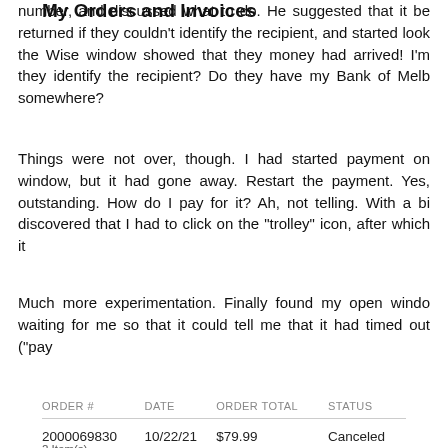number, and discussed what to do. He suggested that it be returned if they couldn't identify the recipient, and started look... the Wise window showed that they money had arrived! I'm ... they identify the recipient? Do they have my Bank of Melb... somewhere?
Things were not over, though. I had started payment on ... window, but it had gone away. Restart the payment. Yes, ... outstanding. How do I pay for it? Ah, not telling. With a bi... discovered that I had to click on the "trolley" icon, after which it...
Much more experimentation. Finally found my open windo... waiting for me so that it could tell me that it had timed out ("pay...
My Orders and Invoices
| ORDER # | DATE | ORDER TOTAL | STATUS |
| --- | --- | --- | --- |
| 2000069830 | 10/22/21 | $79.99 | Canceled |
| 2000069815 | 10/22/21 | $79.99 | Declined |
2 Item(s)